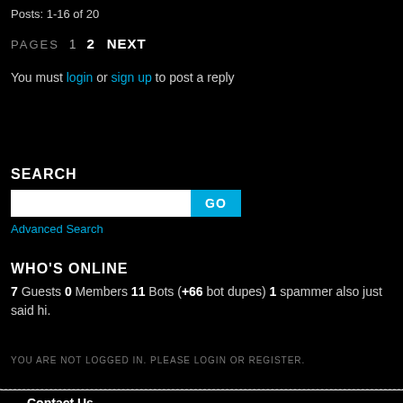Posts: 1-16 of 20
PAGES 1 2 NEXT
You must login or sign up to post a reply
SEARCH
Advanced Search
WHO'S ONLINE
7 Guests 0 Members 11 Bots (+66 bot dupes) 1 spammer also just said hi.
YOU ARE NOT LOGGED IN. PLEASE LOGIN OR REGISTER.
Contact Us
Forum Rules and Announcements
View Forum Moderators